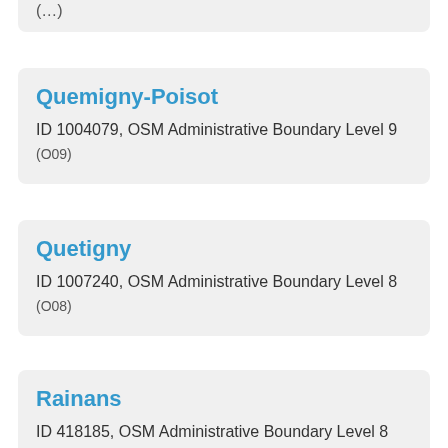(...)
Quemigny-Poisot
ID 1004079, OSM Administrative Boundary Level 9 (O09)
Quetigny
ID 1007240, OSM Administrative Boundary Level 8 (O08)
Rainans
ID 418185, OSM Administrative Boundary Level 8 (O08)